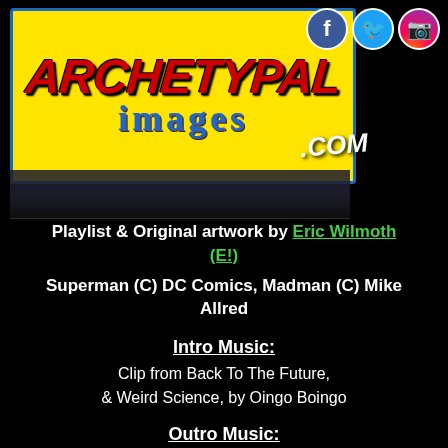[Figure (logo): Archetypal Images logo on yellow background with blue border, red stylized text 'ARCHETYPAL' and blue 'images' below, with .COM text and social media icons (Facebook, Twitter, Instagram)]
Playlist & Original artwork by Eric Wilmoth (E!) Superman (C) DC Comics, Madman (C) Mike Allred
Intro Music:
Clip from Back To The Future, & Weird Science, by Oingo Boingo
Outro Music:
Tubular Bells (The Exorcist THEME), by